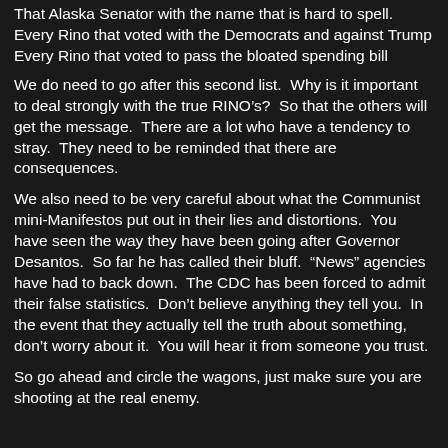That Alaska Senator with the name that is hard to spell.
Every Rino that voted with the Democrats and against Trump
Every Rino that voted to pass the bloated spending bill
We do need to go after this second list.  Why is it important to deal strongly with the true RINO’s?  So that the others will get the message.  There are a lot who have a tendency to stray.  They need to be reminded that there are consequences.
We also need to be very careful about what the Communist mini-Manifestos put out in their lies and distortions.  You have seen the way they have been going after Governor Desantos.  So far he has called their bluff.  “News” agencies have had to back down.  The CDC has been forced to admit their false statistics.  Don’t believe anything they tell you.  In the event that they actually tell the truth about something, don’t worry about it.  You will hear it from someone you trust.
So go ahead and circle the wagons, just make sure you are shooting at the real enemy.